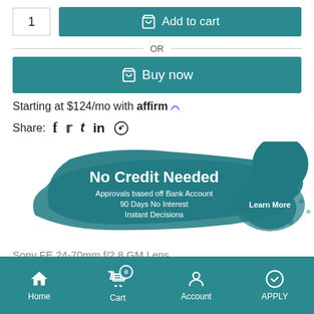1 | Add to cart
OR
Buy now
Starting at $124/mo with affirm
Share: f t in (whatsapp)
[Figure (infographic): No Credit Needed banner with teal paint brush stroke background. Text: No Credit Needed, Approvals based off Bank Account, 90 Days No Interest, Instant Decisions. Teal circle with Learn More splat badge on right side.]
Sony FE 24-70mm f/2.8 GM Lens
Home | Cart (0) | Account | APPLY